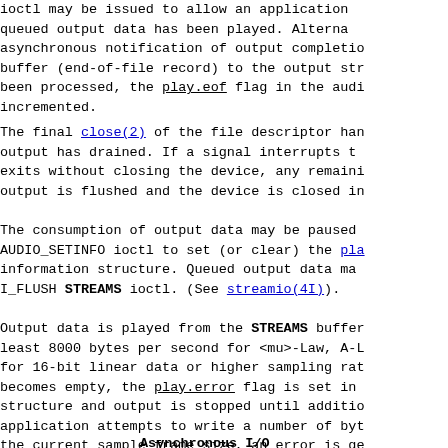ioctl may be issued to allow an application to wait until all queued output data has been played.  Alternatively, asynchronous notification of output completion may be used. A zero-length buffer (end-of-file record) to the output stream.  When the buffer has been processed, the play.eof flag in the audio_info structure is incremented.
The final close(2) of the file descriptor hangs until all queued output has drained.  If a signal interrupts the close(), or if the process exits without closing the device, any remaining output data is flushed and the device is closed immediately.
The consumption of output data may be paused by using the AUDIO_SETINFO ioctl to set (or clear) the play.pause flag in the audio information structure.  Queued output data may be discarded by using the I_FLUSH STREAMS ioctl.  (See streamio(4I)).
Output data is played from the STREAMS buffers at a rate of at least 8000 bytes per second for <mu>-Law, A-Law, or 8-bit linear data, for 16-bit linear data or higher sampling rates, the rate is higher.  If it becomes empty, the play.error flag is set in the audio_info structure and output is stopped until additional data is provided.  If an application attempts to write a number of bytes that is not a multiple of the current sample frame size, an error is generated and the extra bytes are thrown away.  Additional writes are allowed.
Asynchronous I/O
The I_SETSIG STREAMS ioctl enables asynchronous